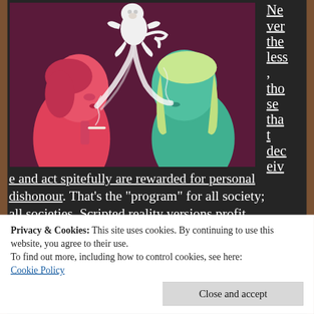[Figure (illustration): Stylized illustration on dark purple/maroon background showing two figures face-to-face: a pink/red male figure on left and a teal/green female figure on right, with white smoke or energy curling between them and a white monkey-like figure above.]
Nevertheless, those that deceive and act spitefully are rewarded for personal dishonour. That’s the “program” for all society; all societies. Scripted reality versions profit
Privacy & Cookies: This site uses cookies. By continuing to use this website, you agree to their use.
To find out more, including how to control cookies, see here:
Cookie Policy
Close and accept